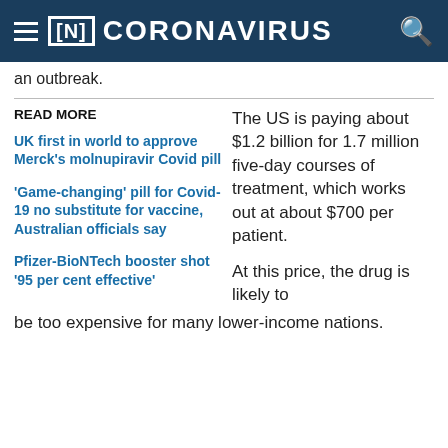[N] CORONAVIRUS
an outbreak.
READ MORE
UK first in world to approve Merck's molnupiravir Covid pill
'Game-changing' pill for Covid-19 no substitute for vaccine, Australian officials say
Pfizer-BioNTech booster shot '95 per cent effective'
The US is paying about $1.2 billion for 1.7 million five-day courses of treatment, which works out at about $700 per patient.
At this price, the drug is likely to be too expensive for many lower-income nations.